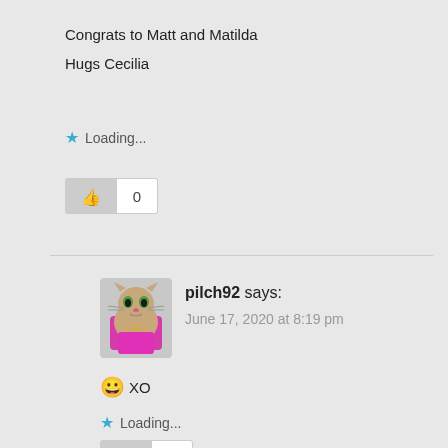Congrats to Matt and Matilda
Hugs Cecilia
Loading...
[Figure (other): Like button with thumbs up icon and count of 0]
[Figure (other): Avatar image of pilch92 - cartoon cat character with pink elements]
pilch92 says:
June 17, 2020 at 8:19 pm
🙂 XO
Loading...
[Figure (other): Like button partially visible at bottom]